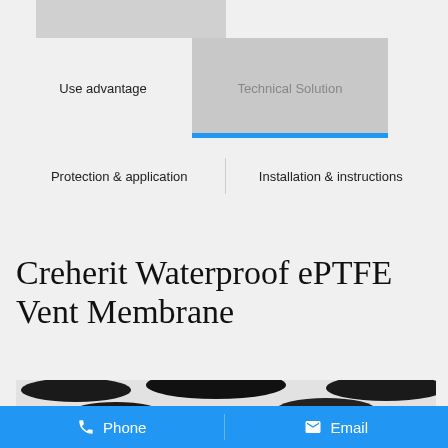Use advantage
Technical Solution
Protection & application
Installation & instructions
Creherit Waterproof ePTFE Vent Membrane
[Figure (photo): Close-up photo of ePTFE vent membrane material showing black rounded shapes on a white textile/membrane surface]
Phone   Email